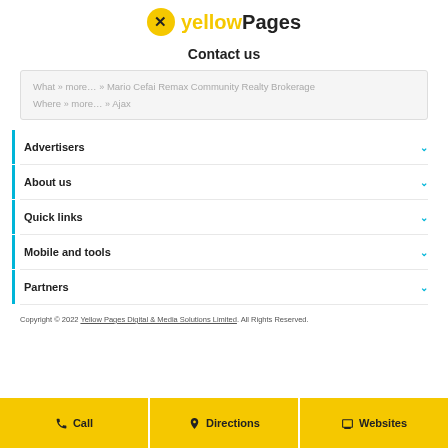[Figure (logo): Yellow Pages logo with yellow circle and 'X' mark, bold text 'yellowPages']
Contact us
What » more… » Mario Cefai Remax Community Realty Brokerage
Where » more… » Ajax
Advertisers
About us
Quick links
Mobile and tools
Partners
Copyright © 2022 Yellow Pages Digital & Media Solutions Limited. All Rights Reserved.
Call | Directions | Websites